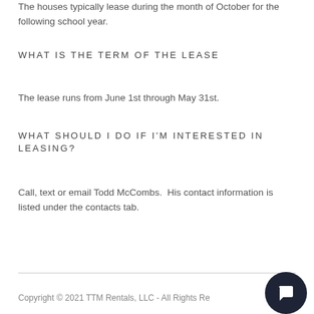The houses typically lease during the month of October for the following school year.
WHAT IS THE TERM OF THE LEASE
The lease runs from June 1st through May 31st.
WHAT SHOULD I DO IF I'M INTERESTED IN LEASING?
Call, text or email Todd McCombs.  His contact information is listed under the contacts tab.
Copyright © 2021 TTM Rentals, LLC - All Rights Re…